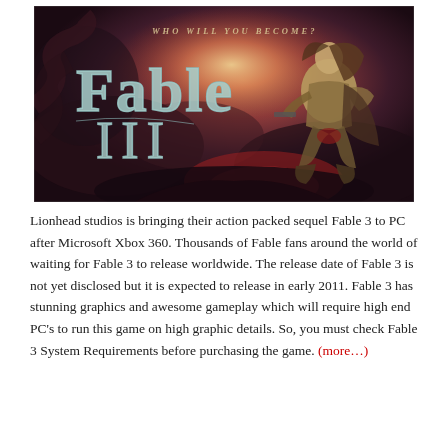[Figure (illustration): Fable III video game promotional image showing the game logo 'Fable III' with tagline 'Who Will You Become?' and a warrior character crouching with weapons against a dark, dramatic fantasy background.]
Lionhead studios is bringing their action packed sequel Fable 3 to PC after Microsoft Xbox 360. Thousands of Fable fans around the world of waiting for Fable 3 to release worldwide. The release date of Fable 3 is not yet disclosed but it is expected to release in early 2011. Fable 3 has stunning graphics and awesome gameplay which will require high end PC's to run this game on high graphic details. So, you must check Fable 3 System Requirements before purchasing the game. (more…)